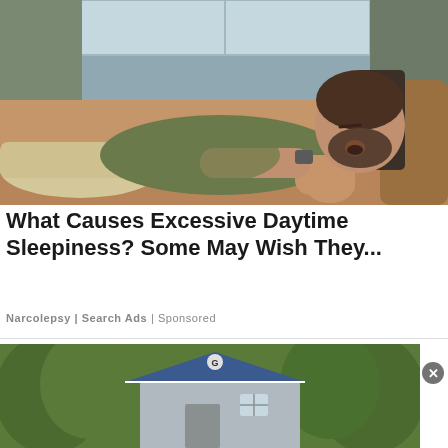[Figure (photo): Man with beard sleeping/passed out on a brown couch, wearing a green t-shirt, arms crossed, mouth open]
What Causes Excessive Daytime Sleepiness? Some May Wish They...
Narcolepsy | Search Ads | Sponsored
[Figure (photo): A grey shed/barn structure with a blue roof and a 'G' sign, surrounded by trees]